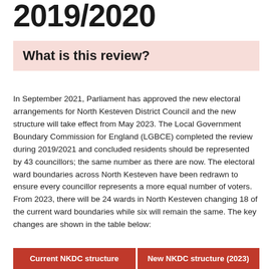2019/2020
What is this review?
In September 2021, Parliament has approved the new electoral arrangements for North Kesteven District Council and the new structure will take effect from May 2023. The Local Government Boundary Commission for England (LGBCE) completed the review during 2019/2021 and concluded residents should be represented by 43 councillors; the same number as there are now. The electoral ward boundaries across North Kesteven have been redrawn to ensure every councillor represents a more equal number of voters. From 2023, there will be 24 wards in North Kesteven changing 18 of the current ward boundaries while six will remain the same. The key changes are shown in the table below:
| Current NKDC structure | New NKDC structure (2023) |
| --- | --- |